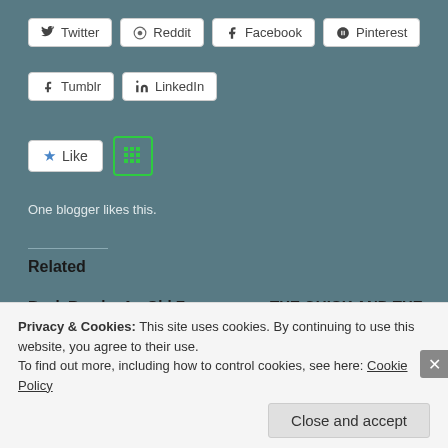Twitter
Reddit
Facebook
Pinterest
Tumblr
LinkedIn
One blogger likes this.
Related
Back Roads; An Old Fave Getting New Life
June 8, 2012
In "Articles"
THE QUICK AND THE DIRTY: Fast Food Celebrity News
July 12, 2012
In "Entertainment"
PINTERESTED IN
DOING
Privacy & Cookies: This site uses cookies. By continuing to use this website, you agree to their use.
To find out more, including how to control cookies, see here: Cookie Policy
Close and accept